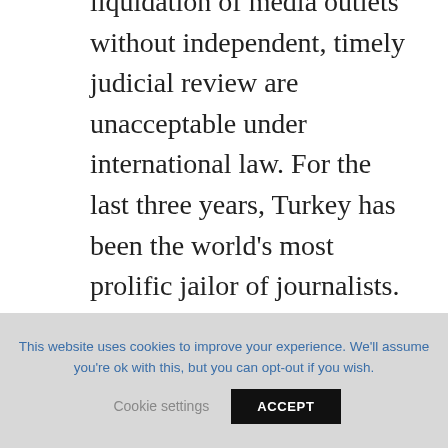liquidation of media outlets without independent, timely judicial review are unacceptable under international law. For the last three years, Turkey has been the world's most prolific jailor of journalists. There are currently at least 140 journalists and media workers in detention; at least 300 have been detained since the imposition of the state of emergency and
This website uses cookies to improve your experience. We'll assume you're ok with this, but you can opt-out if you wish.
Cookie settings
ACCEPT